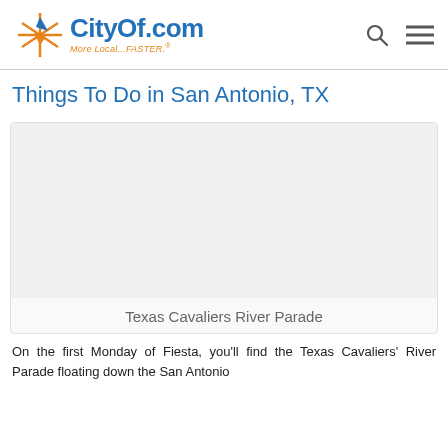CityOf.com — More Local...FASTER.
Things To Do in San Antonio, TX
[Figure (photo): Image placeholder for Texas Cavaliers River Parade]
Texas Cavaliers River Parade
On the first Monday of Fiesta, you'll find the Texas Cavaliers' River Parade floating down the San Antonio